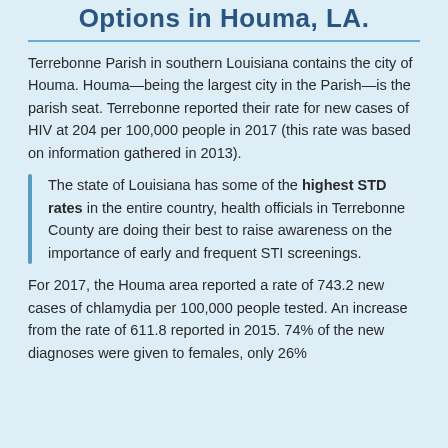Options in Houma, LA.
Terrebonne Parish in southern Louisiana contains the city of Houma. Houma—being the largest city in the Parish—is the parish seat. Terrebonne reported their rate for new cases of HIV at 204 per 100,000 people in 2017 (this rate was based on information gathered in 2013).
The state of Louisiana has some of the highest STD rates in the entire country, health officials in Terrebonne County are doing their best to raise awareness on the importance of early and frequent STI screenings.
For 2017, the Houma area reported a rate of 743.2 new cases of chlamydia per 100,000 people tested. An increase from the rate of 611.8 reported in 2015. 74% of the new diagnoses were given to females, only 26%